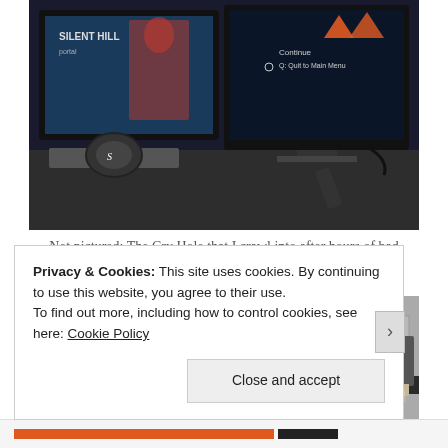[Figure (photo): Photo of a gaming desk setup with a monitor showing Silent Hill, headphones, keyboard, and remote control on the desk surface. Dark background.]
Not pictured: The Cry Hole that I crawl into after hours of bad gaming.
[Figure (photo): Black and white photo of a bookshelf with game cases including Metal Gear Solid: The Essential Collection prominently displayed, stacked items and boxes visible.]
Privacy & Cookies: This site uses cookies. By continuing to use this website, you agree to their use.
To find out more, including how to control cookies, see here: Cookie Policy